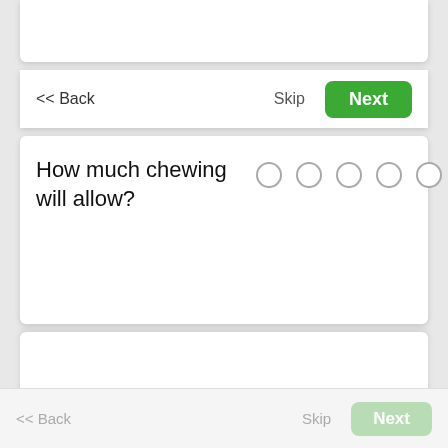<< Back
Skip
Next
How much chewing will allow?
[Figure (other): Five radio button circles in a row for selecting a rating]
<< Back
Skip
Next